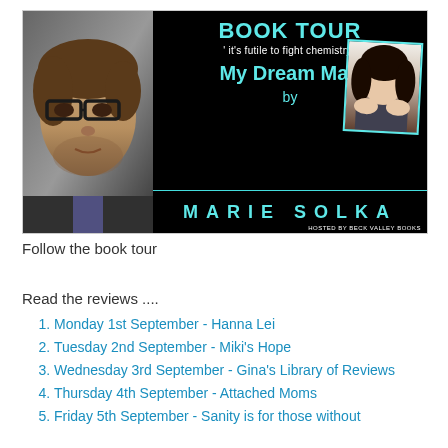[Figure (illustration): Book tour banner for 'My Dream Man' by Marie Solka. Black background with man's face on left, cyan text reading 'BOOK TOUR', quote 'it's futile to fight chemistry', book title 'My Dream Man', 'by', and author name 'MARIE SOLKA' in large spaced letters. Author photo (woman with dark hair) in upper right. Hosted by Beck Valley Books.]
Follow the book tour
Read the reviews ....
Monday 1st September - Hanna Lei
Tuesday 2nd September - Miki's Hope
Wednesday 3rd September - Gina's Library of Reviews
Thursday 4th September - Attached Moms
Friday 5th September - Sanity is for those without